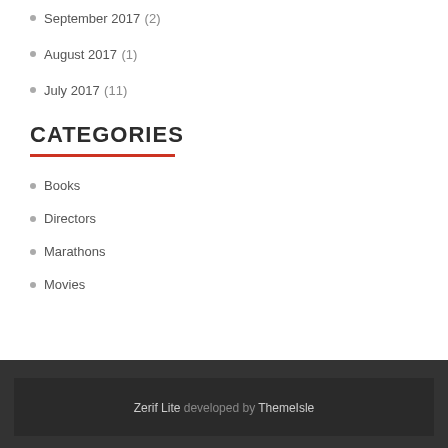September 2017 (2)
August 2017 (1)
July 2017 (11)
CATEGORIES
Books
Directors
Marathons
Movies
Zerif Lite developed by ThemeIsle